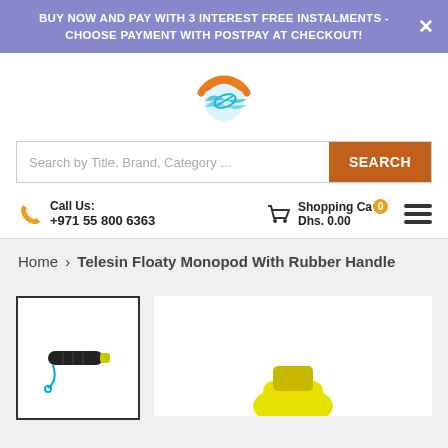BUY NOW AND PAY WITH 3 INTEREST FREE INSTALMENTS - CHOOSE PAYMENT WITH POSTPAY AT CHECKOUT!
[Figure (logo): Circular logo with orange arc and blue wave with feather/fish design]
Search by Title, Brand, Category ...
Call Us:
+971 55 800 6363
Shopping Ca 0
Dhs. 0.00
Home › Telesin Floaty Monopod With Rubber Handle
[Figure (photo): Thumbnail image of Telesin Floaty Monopod with rubber handle, shown as a black grip with yellow/blue cord]
[Figure (photo): Main product image of Telesin Floaty Monopod, showing yellow handle end, partially visible]